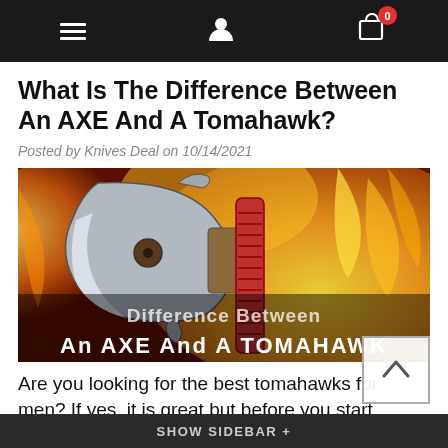Navigation bar with hamburger menu, user icon, and cart icon (badge: 0)
What Is The Difference Between An AXE And A Tomahawk?
Posted by Knives Deal on 10/14/2021
[Figure (photo): A tomahawk with a red wrapped handle against a fiery background. Text overlay reads 'Difference Between An AXE And A TOMAHAWK']
Are you looking for the best tomahawks for men? If yes, it is great but before you start finding one, there